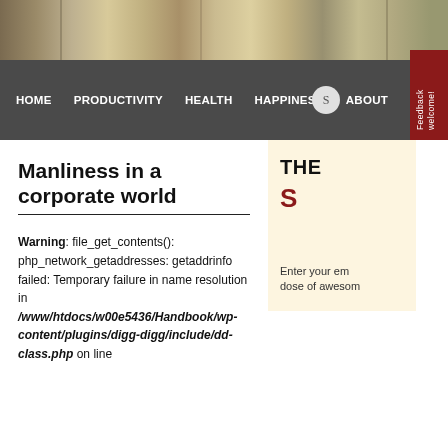[Figure (photo): Website header image banner with muted tan/brown tones, partially visible]
HOME  PRODUCTIVITY  HEALTH  HAPPINESS  ABOUT
Manliness in a corporate world
Warning: file_get_contents(): php_network_getaddresses: getaddrinfo failed: Temporary failure in name resolution in /www/htdocs/w00e5436/Handbook/wp-content/plugins/digg-digg/include/dd-class.php on line
THE
S
Enter your em
dose of awesom